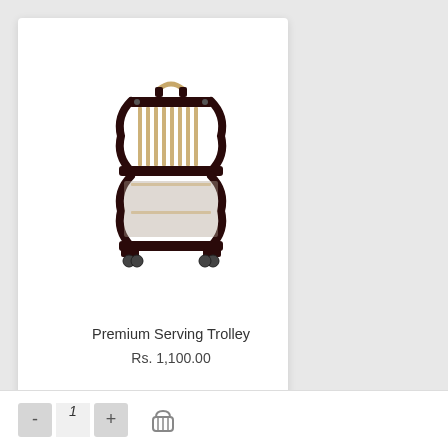[Figure (photo): A dark brown wooden premium serving trolley with bamboo/rattan slats and small wheels at the base, photographed on white background]
Premium Serving Trolley
Rs. 1,100.00
- 1 + [cart icon]